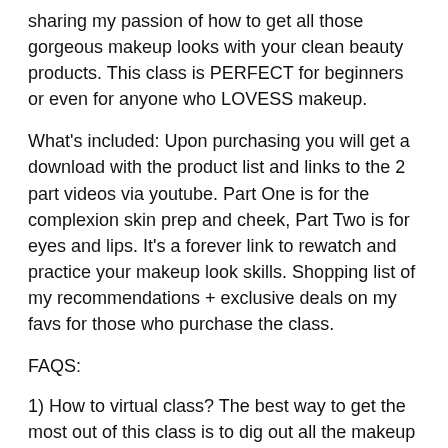sharing my passion of how to get all those gorgeous makeup looks with your clean beauty products. This class is PERFECT for beginners or even for anyone who LOVESS makeup.
What's included: Upon purchasing you will get a download with the product list and links to the 2 part videos via youtube. Part One is for the complexion skin prep and cheek, Part Two is for eyes and lips. It's a forever link to rewatch and practice your makeup look skills. Shopping list of my recommendations + exclusive deals on my favs for those who purchase the class.
FAQS:
1) How to virtual class? The best way to get the most out of this class is to dig out all the makeup and skin care you own and follow me step by step for the duration of the class. Have handy your brushes, makeup, skin care, and some makeup wipes, q-tips. Host a party and do this with friends and family. Learning is always more fun with the ones you love.